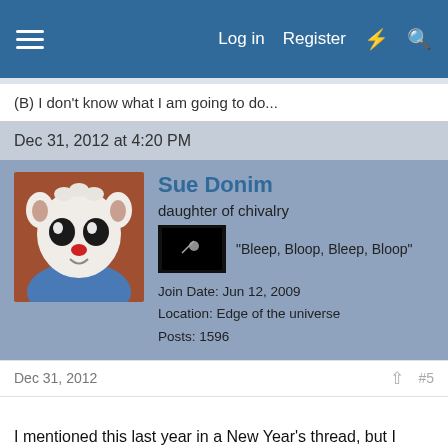Log in  Register
(B) I don't know what I am going to do...
Dec 31, 2012 at 4:20 PM
[Figure (photo): Avatar of user Sue Donim, a cartoon character with white fur and a red nose]
Sue Donim
daughter of chivalry
"Bleep, Bloop, Bleep, Bloop"
Join Date: Jun 12, 2009
Location: Edge of the universe
Posts: 1596
Dec 31, 2012  #5
I mentioned this last year in a New Year's thread, but I think we should take every moment to try and improve ourselves, not just a time of year.

Regardless, here are some goals of mine:
-Go back to the gym. I haven't been since October.